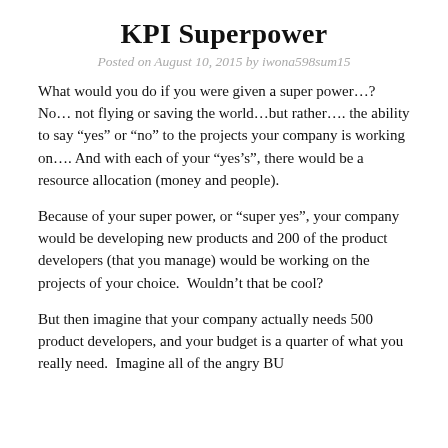KPI Superpower
Posted on August 10, 2015 by iwona598sum15
What would you do if you were given a super power…? No… not flying or saving the world…but rather…. the ability to say “yes” or “no” to the projects your company is working on…. And with each of your “yes’s”, there would be a resource allocation (money and people).
Because of your super power, or “super yes”, your company would be developing new products and 200 of the product developers (that you manage) would be working on the projects of your choice.  Wouldn’t that be cool?
But then imagine that your company actually needs 500 product developers, and your budget is a quarter of what you really need.  Imagine all of the angry BU